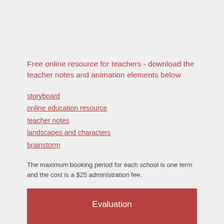Free online resource for teachers - download the teacher notes and animation elements below
storyboard
online education resource
teacher notes
landscapes and characters
brainstorm
The maximum booking period for each school is one term and the cost is a $25 administration fee.
Evaluation
Booking Enquiry